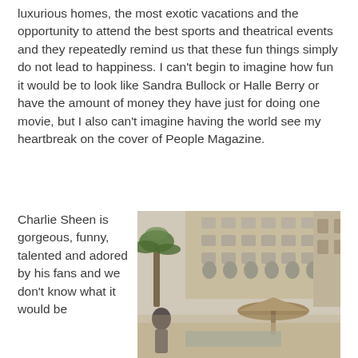luxurious homes, the most exotic vacations and the opportunity to attend the best sports and theatrical events and they repeatedly remind us that these fun things simply do not lead to happiness. I can't begin to imagine how fun it would be to look like Sandra Bullock or Halle Berry or have the amount of money they have just for doing one movie, but I also can't imagine having the world see my heartbreak on the cover of People Magazine.
Charlie Sheen is gorgeous, funny, talented and adored by his fans and we don't know what it would be
[Figure (photo): Outdoor resort or hotel pool area with palm trees, thatched umbrellas, and a large beige building with arched windows in the background. People visible near the pool.]